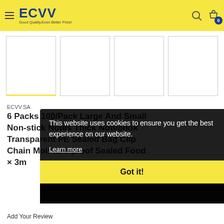ECVV - Good Quality, Even Better Price!
[Figure (screenshot): Four product thumbnail images in a row, first one selected with yellow bottom border]
ECVV.SA
6 Packs 100/Pack Large And Small Non-stick Notes Thick Notebook Transparent PE Sealed Bag Clip Chain Moisture-proof Sealed Food x 3m
[Figure (screenshot): Cookie consent overlay banner with dark background. Text: 'This website uses cookies to ensure you get the best experience on our website. Learn more' and a yellow 'Got it!' button.]
Add Your Review